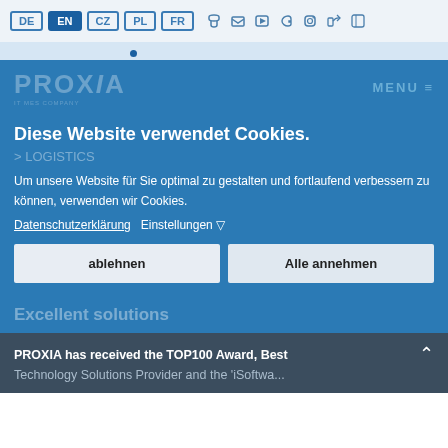DE EN CZ PL FR [phone] [email] [youtube] [facebook] [instagram] [linkedin] [search]
[Figure (logo): PROXIA logo watermark in white/transparent on blue background, with MENU hamburger icon top right]
Diese Website verwendet Cookies.
> LOGISTICS (faded breadcrumb)
Um unsere Website für Sie optimal zu gestalten und fortlaufend verbessern zu können, verwenden wir Cookies.
Datenschutzerklärung   Einstellungen ▽
ablehnen
Alle annehmen
Excellent solutions
PROXIA has received the TOP100 Award, Best Technology Solutions Provider and the 'iSoftware...